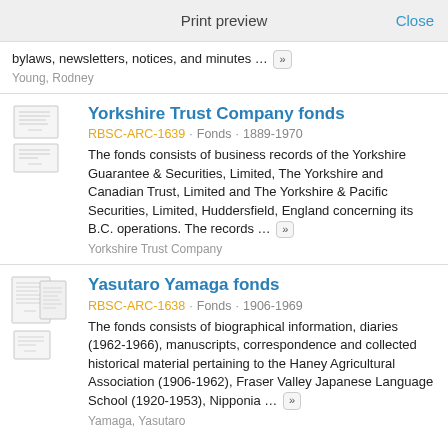Print preview   Close
bylaws, newsletters, notices, and minutes …
Young, Rodney
Yorkshire Trust Company fonds
RBSC-ARC-1639 · Fonds · 1889-1970
The fonds consists of business records of the Yorkshire Guarantee & Securities, Limited, The Yorkshire and Canadian Trust, Limited and The Yorkshire & Pacific Securities, Limited, Huddersfield, England concerning its B.C. operations. The records …
Yorkshire Trust Company
Yasutaro Yamaga fonds
RBSC-ARC-1638 · Fonds · 1906-1969
The fonds consists of biographical information, diaries (1962-1966), manuscripts, correspondence and collected historical material pertaining to the Haney Agricultural Association (1906-1962), Fraser Valley Japanese Language School (1920-1953), Nipponia …
Yamaga, Yasutaro